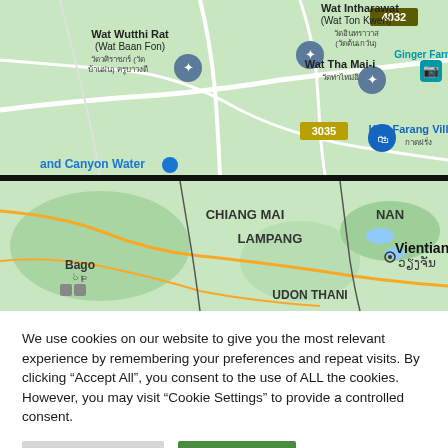[Figure (map): Google Maps screenshot showing Chiang Mai area in Thailand with place markers for Wat Wutthi Rat (Wat Baan Fon), Wat Intharawat (Wat Ton Kwen), Wat Tha Mai-i, Ginger Farm, Kad Farang Village, road 3035 and 4032]
[Figure (map): Wider Google Maps view showing northern Thailand and Laos region with city labels: Chiang Mai, Nan, Lampang, Bago, Vientiane, Udon Thani]
We use cookies on our website to give you the most relevant experience by remembering your preferences and repeat visits. By clicking “Accept All”, you consent to the use of ALL the cookies. However, you may visit “Cookie Settings” to provide a controlled consent.
Cookie Settings
Accept All